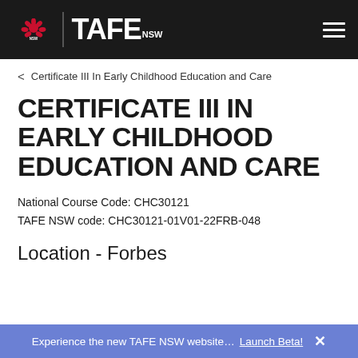TAFE NSW – NSW Government header navigation
< Certificate III In Early Childhood Education and Care
CERTIFICATE III IN EARLY CHILDHOOD EDUCATION AND CARE
National Course Code: CHC30121
TAFE NSW code: CHC30121-01V01-22FRB-048
Location - Forbes
Experience the new TAFE NSW website... Launch Beta! ×